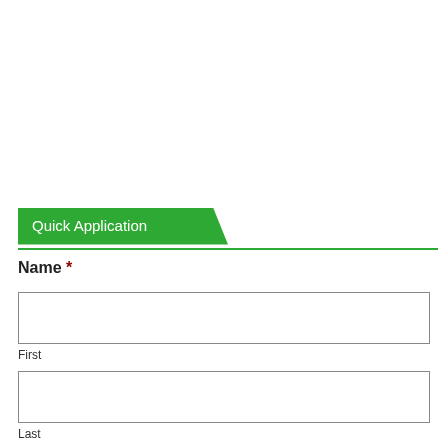Quick Application
Name *
First
Last